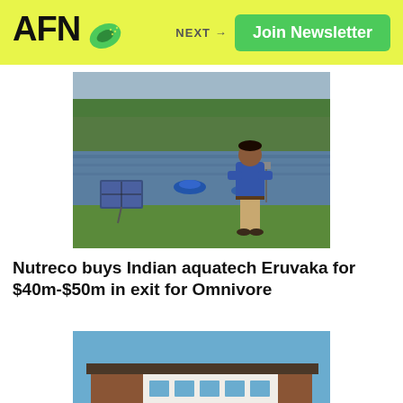AFN — Join Newsletter — NEXT →
[Figure (photo): Man in blue shirt standing by an aquaculture pond with solar panel and aerators visible in the water, trees in background]
Nutreco buys Indian aquatech Eruvaka for $40m-$50m in exit for Omnivore
[Figure (photo): Modern office or research building exterior with blue sky, two-story white and brick facade with large windows]